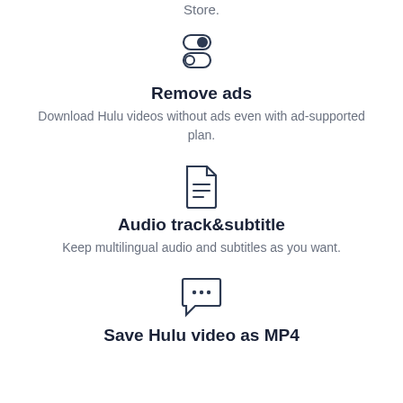Store.
[Figure (illustration): Toggle/switch icon with two circular toggle buttons]
Remove ads
Download Hulu videos without ads even with ad-supported plan.
[Figure (illustration): Document/file icon with lines representing text]
Audio track&subtitle
Keep multilingual audio and subtitles as you want.
[Figure (illustration): Chat/speech bubble icon with three dots]
Save Hulu video as MP4